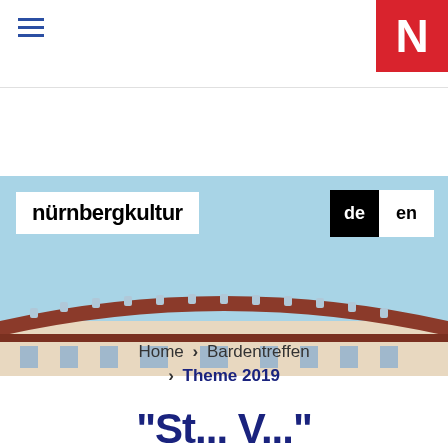≡  N
[Figure (photo): Hero banner showing the nürnbergkultur website header: white logo box on left with text 'nürnbergkultur', language switcher 'de en' on right against black background, over a light blue sky with a curved red-roofed building visible at bottom]
Home > Bardentreffen > Theme 2019
"St... V..."